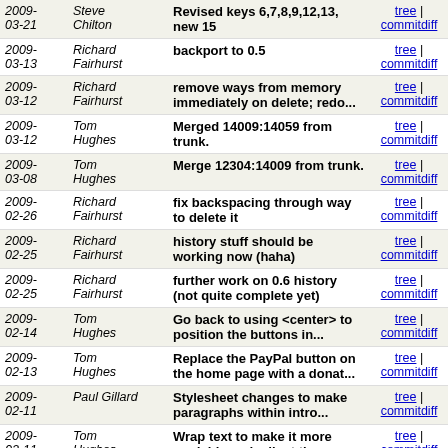| Date | Author | Message | Links |
| --- | --- | --- | --- |
| 2009-03-21 | Steve Chilton | Revised keys 6,7,8,9,12,13, new 15 | tree | commitdiff |
| 2009-03-13 | Richard Fairhurst | backport to 0.5 | tree | commitdiff |
| 2009-03-12 | Richard Fairhurst | remove ways from memory immediately on delete; redo... | tree | commitdiff |
| 2009-03-12 | Tom Hughes | Merged 14009:14059 from trunk. | tree | commitdiff |
| 2009-03-08 | Tom Hughes | Merge 12304:14009 from trunk. | tree | commitdiff |
| 2009-02-26 | Richard Fairhurst | fix backspacing through way to delete it | tree | commitdiff |
| 2009-02-25 | Richard Fairhurst | history stuff should be working now (haha) | tree | commitdiff |
| 2009-02-25 | Richard Fairhurst | further work on 0.6 history (not quite complete yet) | tree | commitdiff |
| 2009-02-14 | Tom Hughes | Go back to using <center> to position the buttons in... | tree | commitdiff |
| 2009-02-13 | Tom Hughes | Replace the PayPal button on the home page with a donat... | tree | commitdiff |
| 2009-02-11 | Paul Gillard | Stylesheet changes to make paragraphs within intro... | tree | commitdiff |
| 2009-02-11 | Tom Hughes | Wrap text to make it more readable and adjust the paddi... | tree | commitdiff |
| 2009-02-06 | Tom Hughes | Stop robots crawling the object browser. | tree | commitdiff |
| 2009- | Tom | Back out hack to setMapCenter | tree | |